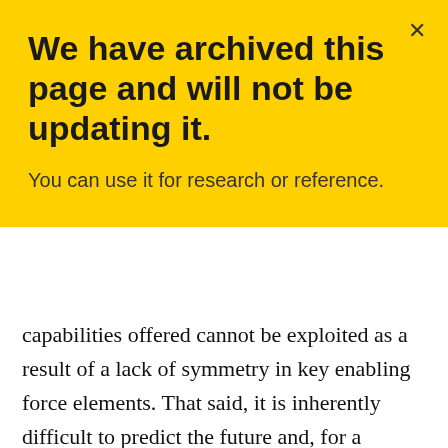We have archived this page and will not be updating it.
You can use it for research or reference.
capabilities offered cannot be exploited as a result of a lack of symmetry in key enabling force elements. That said, it is inherently difficult to predict the future and, for a platform such as the CF188 replacement, great care must be taken to ensure the best